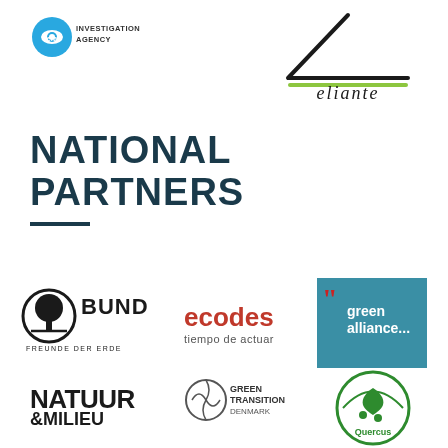[Figure (logo): ERA Investigation Agency logo - circular blue icon with eye motif and text]
[Figure (logo): Eliante logo - hand-drawn triangle/tent shape with green underline and text 'eliante']
NATIONAL PARTNERS
[Figure (logo): BUND Freunde der Erde logo - black circular tree icon with BUND text]
[Figure (logo): ecodes tiempo de actuar logo - red text with circular design]
[Figure (logo): green alliance... logo - teal/blue square with white text and red quotation marks]
[Figure (logo): NATUUR & MILIEU logo - bold black text]
[Figure (logo): Green Transition Denmark logo - circular earth icon with text]
[Figure (logo): Quercus logo - green circular design with oak leaf]